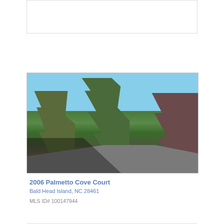[Figure (photo): Top card placeholder - white rectangular card with border]
[Figure (photo): Outdoor photo showing trees and vegetation with a road/driveway in the foreground and blue sky above. Location: 2006 Palmetto Cove Court, Bald Head Island, NC.]
2006 Palmetto Cove Court
Bald Head Island, NC 28461
MLS ID# 100147944